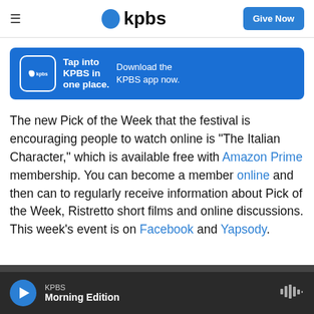KPBS
[Figure (screenshot): KPBS app advertisement banner: blue background with kpbs icon, text 'Tap into KPBS in one place.' and 'Download the KPBS app now.']
The new Pick of the Week that the festival is encouraging people to watch online is "The Italian Character," which is available free with Amazon Prime membership. You can become a member online and then can to regularly receive information about Pick of the Week, Ristretto short films and online discussions. This week's event is on Facebook and Yapsody.
KPBS Morning Edition